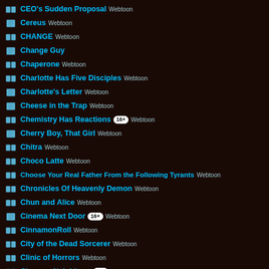CEO's Sudden Proposal Webtoon
Cereus Webtoon
CHANGE Webtoon
Change Guy
Chaperone Webtoon
Charlotte Has Five Disciples Webtoon
Charlotte's Letter Webtoon
Cheese in the Trap Webtoon
Chemistry Has Reactions 16+ Webtoon
Cherry Boy, That Girl Webtoon
Chitra Webtoon
Choco Latte Webtoon
Choose Your Real Father From the Following Tyrants Webtoon
Chronicles Of Heavenly Demon Webtoon
Chun and Alice Webtoon
Cinema Next Door 16+ Webtoon
CinnamonRoll Webtoon
City of the Dead Sorcerer Webtoon
Clinic of Horrors Webtoon
Close as Neighbors 18+
Closezone Webtoon
Clouds in the Night Sky Webtoon
Clover Under Foot Webtoon
Cohabitation! 18+ Webtoon